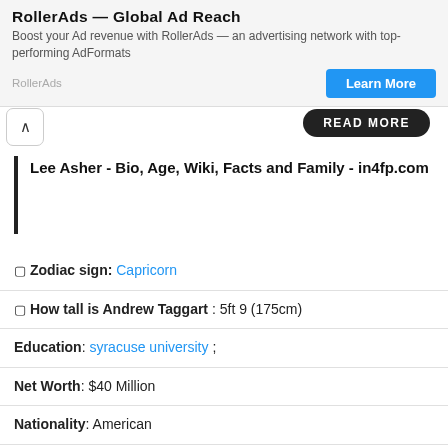[Figure (screenshot): Advertisement banner for RollerAds showing title, description, source label, and Learn More button]
READ MORE
Lee Asher - Bio, Age, Wiki, Facts and Family - in4fp.com
🔲 Zodiac sign: Capricorn
🔲 How tall is Andrew Taggart : 5ft 9 (175cm)
Education: syracuse university ;
Net Worth: $40 Million
Nationality: American
Andrew Taggart Wikipedia
Advertisement